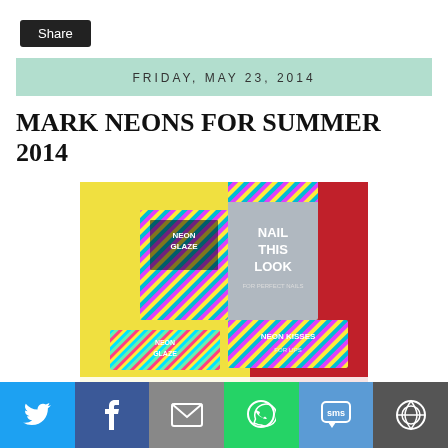[Figure (other): Share button (dark rounded rectangle with 'Share' text)]
FRIDAY, MAY 23, 2014
MARK NEONS FOR SUMMER 2014
[Figure (photo): Product photo of Mark Neons makeup collection including NEON GLAZE and NEON KISSES products with striped neon packaging, on yellow and red background, with large 'NEONS' text at bottom]
[Figure (other): Social share bar with icons for Twitter, Facebook, Email, WhatsApp, SMS, and More]